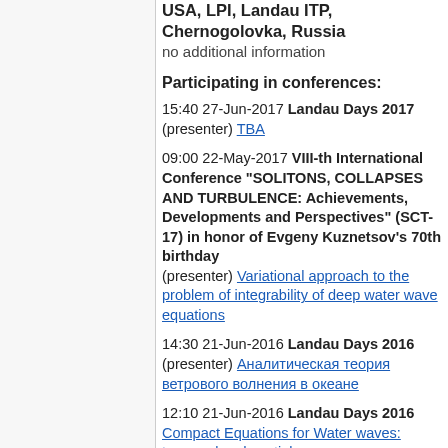USA, LPI, Landau ITP, Chernogolovka, Russia
no additional information
Participating in conferences:
15:40 27-Jun-2017 Landau Days 2017 (presenter) TBA
09:00 22-May-2017 VIII-th International Conference "SOLITONS, COLLAPSES AND TURBULENCE: Achievements, Developments and Perspectives" (SCT-17) in honor of Evgeny Kuznetsov's 70th birthday (presenter) Variational approach to the problem of integrability of deep water wave equations
14:30 21-Jun-2016 Landau Days 2016 (presenter) Аналитическая теория ветрового волнения в океане
12:10 21-Jun-2016 Landau Days 2016 Compact Equations for Water waves: temporal and spatial